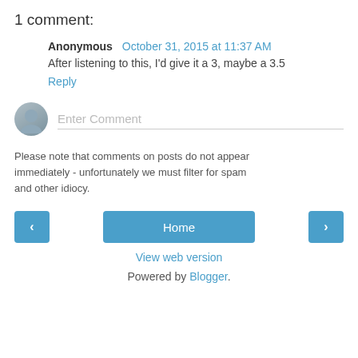1 comment:
Anonymous  October 31, 2015 at 11:37 AM
After listening to this, I'd give it a 3, maybe a 3.5
Reply
[Figure (other): Comment input row with avatar icon and 'Enter Comment' placeholder text field]
Please note that comments on posts do not appear immediately - unfortunately we must filter for spam and other idiocy.
< Home > navigation buttons
View web version
Powered by Blogger.